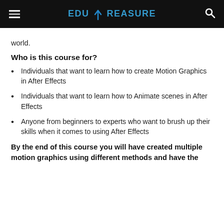EDUTREASURE
world.
Who is this course for?
Individuals that want to learn how to create Motion Graphics in After Effects
Individuals that want to learn how to Animate scenes in After Effects
Anyone from beginners to experts who want to brush up their skills when it comes to using After Effects
By the end of this course you will have created multiple motion graphics using different methods and have the